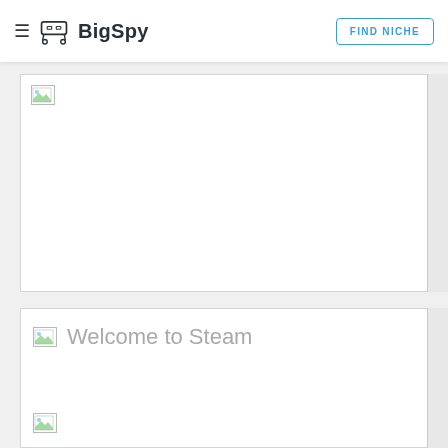BigSpy — FIND NICHE
[Figure (screenshot): Ad card with broken image placeholder icon in top-left corner, white card with border]
[Figure (screenshot): Ad card with broken image icon and text 'Welcome to Steam', and another broken image icon at bottom-left]